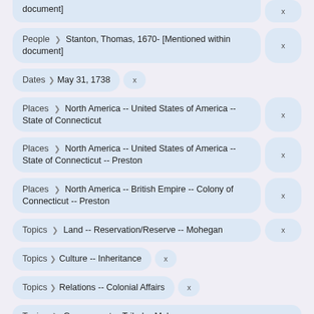document]
People > Stanton, Thomas, 1670- [Mentioned within document]
Dates > May 31, 1738
Places > North America -- United States of America -- State of Connecticut
Places > North America -- United States of America -- State of Connecticut -- Preston
Places > North America -- British Empire -- Colony of Connecticut -- Preston
Topics > Land -- Reservation/Reserve -- Mohegan
Topics > Culture -- Inheritance
Topics > Relations -- Colonial Affairs
Topics > Government -- Tribal -- Mohegan --